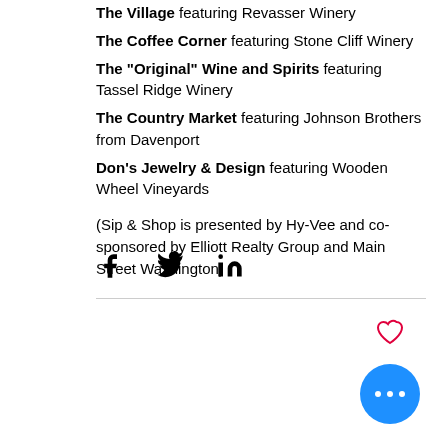The Village featuring Revasser Winery
The Coffee Corner featuring Stone Cliff Winery
The "Original" Wine and Spirits featuring Tassel Ridge Winery
The Country Market featuring Johnson Brothers from Davenport
Don's Jewelry & Design featuring Wooden Wheel Vineyards
(Sip & Shop is presented by Hy-Vee and co-sponsored by Elliott Realty Group and Main Street Washington)
[Figure (infographic): Social share icons: Facebook, Twitter, LinkedIn]
[Figure (infographic): Heart (like) icon and more options button (three dots in blue circle)]